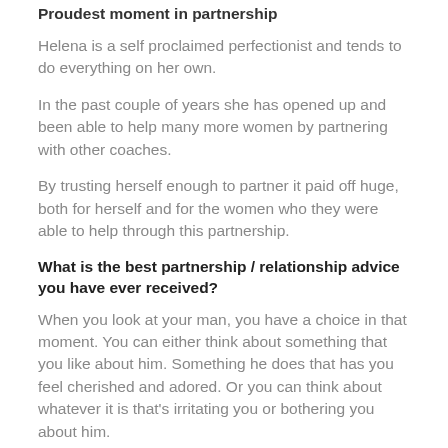Proudest moment in partnership
Helena is a self proclaimed perfectionist and tends to do everything on her own.
In the past couple of years she has opened up and been able to help many more women by partnering with other coaches.
By trusting herself enough to partner it paid off huge, both for herself and for the women who they were able to help through this partnership.
What is the best partnership / relationship advice you have ever received?
When you look at your man, you have a choice in that moment. You can either think about something that you like about him. Something he does that has you feel cherished and adored. Or you can think about whatever it is that's irritating you or bothering you about him.
That choice is...